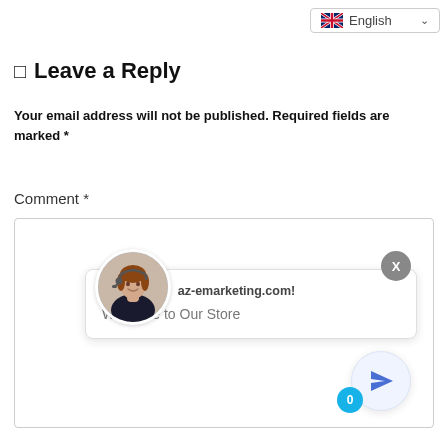[Figure (screenshot): Language selector dropdown showing UK flag and 'English' text with dropdown arrow]
Leave a Reply
Your email address will not be published. Required fields are marked *
Comment *
[Figure (screenshot): Comment textarea box containing a chat popup widget with a female customer service avatar, 'Welcome to az-emarketing.com!' header, 'Welcome to Our Store' message, an X close button, a paper plane send button, and a notification badge showing 0]